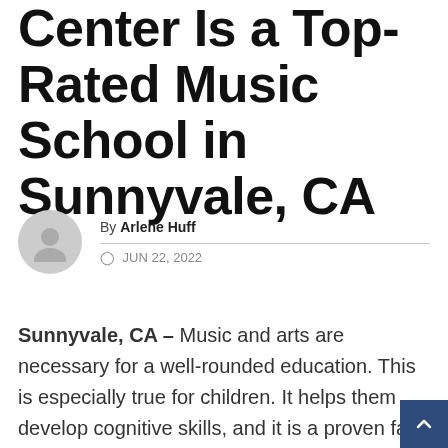Center Is a Top-Rated Music School in Sunnyvale, CA
By Arlene Huff
JUN 22, 2022
Sunnyvale, CA – Music and arts are necessary for a well-rounded education. This is especially true for children. It helps them develop cognitive skills, and it is a proven fact that students who study music tend to do better in school overall. Building an early foundation in music and arts can lead to a successful future.